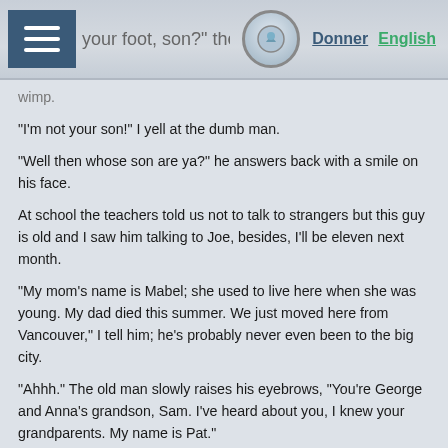wimp. | your foot, son? the old man asks. | Donner | English
“I’m not your son!” I yell at the dumb man.
“Well then whose son are ya?” he answers back with a smile on his face.
At school the teachers told us not to talk to strangers but this guy is old and I saw him talking to Joe, besides, I’ll be eleven next month.
“My mom’s name is Mabel; she used to live here when she was young. My dad died this summer. We just moved here from Vancouver,” I tell him; he’s probably never even been to the big city.
“Ahhh.” The old man slowly raises his eyebrows, “You’re George and Anna’s grandson, Sam. I’ve heard about you, I knew your grandparents. My name is Pat.”
“My grandparents died when I was two,” I reply, unimpressed.
“I used to play basketball with your grandpa. We called him Shooter. He never seemed to miss a shot and could dunk the ball too.” Pat nods and glances toward the door as Justin’s dad waves at me.
“Looks like it’s time for you go. Nice to meet cha, Sam.”